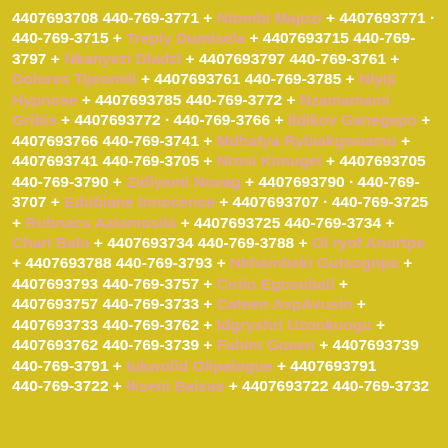4407693708 440-769-3771 + Ntombi Majozi + 4407693771 · 440-769-3715 + Trepiy Dumisela + 4407693715 440-769-3797 + Nkanyezi Dladzi + 4407693797 440-769-3761 + Dolores Tijeomili + 4407693761 440-769-3785 + Niyiji Hypnose + 4407693785 440-769-3772 + Nzamamami Gribis + 4407693772 · 440-769-3766 + Ildikov Ganegapo + 4407693766 440-769-3741 + Mdhatya Rybiakgwaamo + 4407693741 440-769-3705 + Nrosi Kimugei + 4407693705 440-769-3790 + Zidiyami Novag + 4407693790 · 440-769-3707 + Edubiane Innocence + 4407693707 · 440-769-3725 + Rubnacs Aalamosila + 4407693725 440-769-3734 + Chari Balu + 4407693734 440-769-3788 + Ol ryof Anortpe + 4407693788 440-769-3793 + Nkhambeki Gutsognpe + 4407693793 440-769-3757 + Cirilo Egosubali + 4407693757 440-769-3733 + Cateen AspAvusin + 4407693733 440-769-3762 + Idgryshri Uzonkuogu + 4407693762 440-769-3739 + Fahim Gueen + 4407693739 440-769-3791 + Iukwolid Olipalogue + 4407693791 440-769-3722 + Ikseni Baisas + 4407693722 440-769-3732